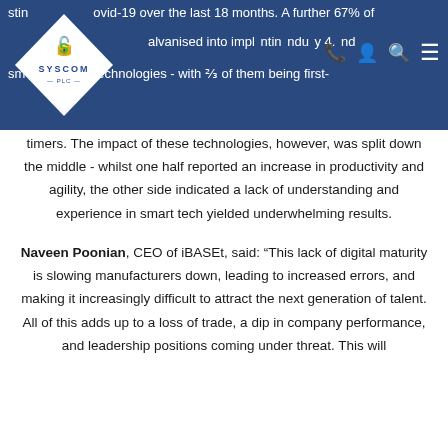stine Covid-19 over the last 18 months. A further 67% of... galvanised into implementing Industry 4.0 and smart factory technologies - with ⅔ of them being first-
timers. The impact of these technologies, however, was split down the middle - whilst one half reported an increase in productivity and agility, the other side indicated a lack of understanding and experience in smart tech yielded underwhelming results.
Naveen Poonian, CEO of iBASEt, said: “This lack of digital maturity is slowing manufacturers down, leading to increased errors, and making it increasingly difficult to attract the next generation of talent. All of this adds up to a loss of trade, a dip in company performance, and leadership positions coming under threat. This will